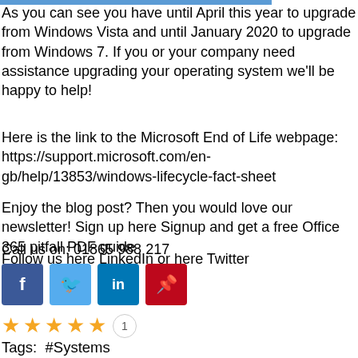As you can see you have until April this year to upgrade from Windows Vista and until January 2020 to upgrade from Windows 7. If you or your company need assistance upgrading your operating system we'll be happy to help!
Here is the link to the Microsoft End of Life webpage: https://support.microsoft.com/en-gb/help/13853/windows-lifecycle-fact-sheet
Enjoy the blog post? Then you would love our newsletter! Sign up here Signup and get a free Office 365 pitfall PDF guide
Call us on: 01865 988 217
Follow us here LinkedIn or here Twitter
[Figure (infographic): Social share buttons: Facebook (dark blue), Twitter (light blue), LinkedIn (blue), Pinterest (red)]
[Figure (infographic): Five yellow star rating with count bubble showing 1]
Tags: #Systems